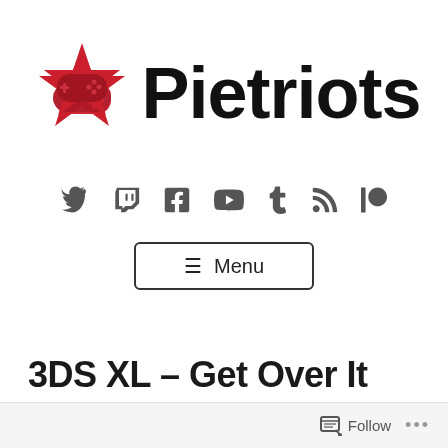[Figure (logo): Pietriots logo: red star with game controller icon followed by bold black text 'Pietriots']
[Figure (infographic): Row of social media icons: Twitter, Twitch, Facebook, YouTube, Tumblr, RSS, Patreon]
[Figure (other): Menu button with hamburger lines icon and text 'Menu' inside a rectangular border]
3DS XL – Get Over It
Follow  ...